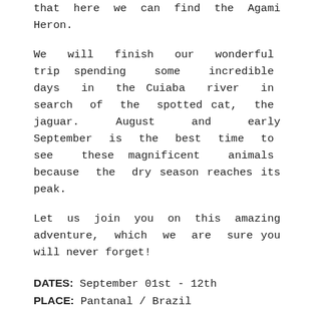that here we can find the Agami Heron.
We will finish our wonderful trip spending some incredible days in the Cuiaba river in search of the spotted cat, the jaguar. August and early September is the best time to see these magnificent animals because the dry season reaches its peak.
Let us join you on this amazing adventure, which we are sure you will never forget!
DATES: September 01st - 12th
PLACE: Pantanal / Brazil
DURATION: 12 Days
PRICE: 6,525$ p.p. (Shared rooms)
SINGLE ROOM: Supplement of $70 per